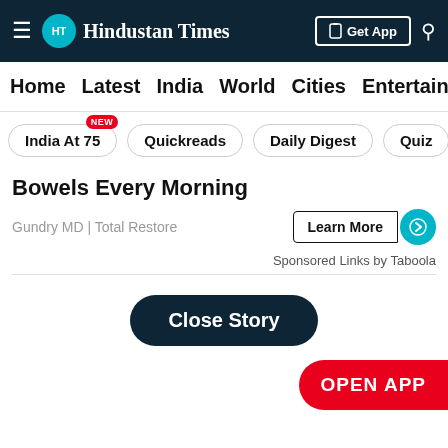Hindustan Times
Home | Latest | India | World | Cities | Entertainment
India At 75 NEW | Quickreads | Daily Digest | Quiz | V
Bowels Every Morning
Gundry MD | Total Restore
Learn More
Sponsored Links by Taboola
Close Story
OPEN APP